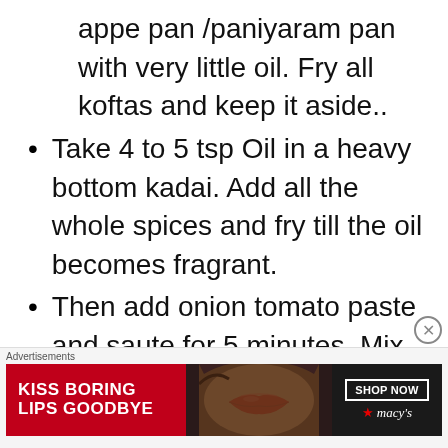appe pan /paniyaram pan with very little oil. Fry all koftas and keep it aside..
Take 4 to 5 tsp Oil in a heavy bottom kadai. Add all the whole spices and fry till the oil becomes fragrant.
Then add onion tomato paste and saute for 5 minutes. Mix
Advertisements KISS BORING LIPS GOODBYE  SHOP NOW  ★macys